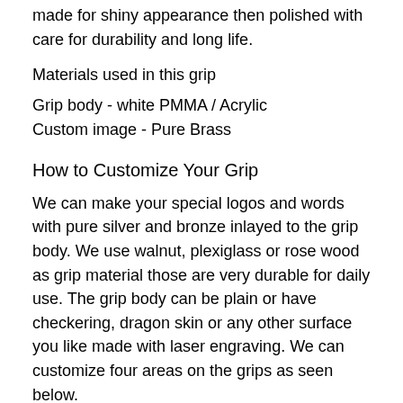made for shiny appearance then polished with care for durability and long life.
Materials used in this grip
Grip body - white PMMA / Acrylic
Custom image - Pure Brass
How to Customize Your Grip
We can make your special logos and words with pure silver and bronze inlayed to the grip body. We use walnut, plexiglass or rose wood as grip material those are very durable for daily use. The grip body can be plain or have checkering, dragon skin or any other surface you like made with laser engraving. We can customize four areas on the grips as seen below.
To...